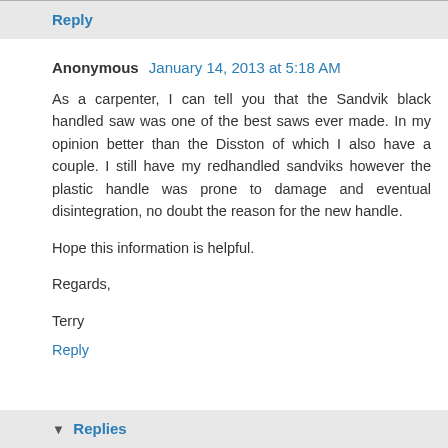Reply
Anonymous  January 14, 2013 at 5:18 AM
As a carpenter, I can tell you that the Sandvik black handled saw was one of the best saws ever made. In my opinion better than the Disston of which I also have a couple. I still have my redhandled sandviks however the plastic handle was prone to damage and eventual disintegration, no doubt the reason for the new handle.

Hope this information is helpful.

Regards,

Terry
Reply
Replies